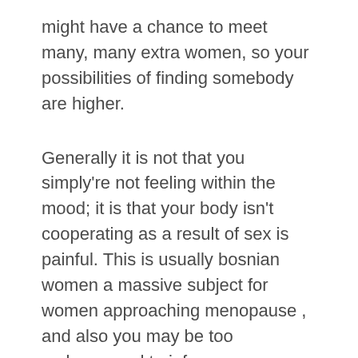might have a chance to meet many, many extra women, so your possibilities of finding somebody are higher.
Generally it is not that you simply're not feeling within the mood; it is that your body isn't cooperating as a result of sex is painful. This is usually bosnian women a massive subject for women approaching menopause , and also you may be too embarrassed to inform your partner.
Give yourselves area to breathe, develop, and create a culture of belief a lot so that you can spend days and miles aside with out questioning in the event that they're